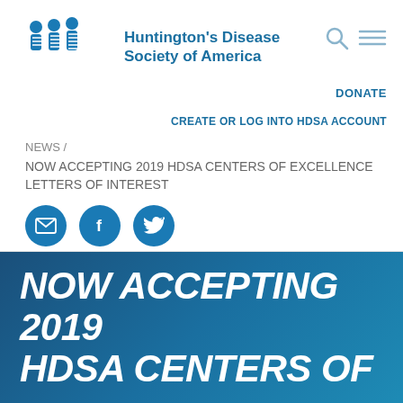[Figure (logo): Huntington's Disease Society of America logo with blue figures and text]
DONATE
CREATE OR LOG INTO HDSA ACCOUNT
NEWS /
NOW ACCEPTING 2019 HDSA CENTERS OF EXCELLENCE LETTERS OF INTEREST
[Figure (illustration): Social share icons: email, Facebook, Twitter]
NOW ACCEPTING 2019 HDSA CENTERS OF